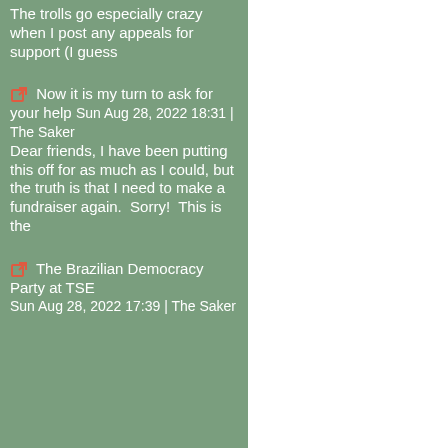The trolls go especially crazy when I post any appeals for support (I guess
Now it is my turn to ask for your help Sun Aug 28, 2022 18:31 | The Saker
Dear friends, I have been putting this off for as much as I could, but the truth is that I need to make a fundraiser again.  Sorry!  This is the
The Brazilian Democracy Party at TSE Sun Aug 28, 2022 17:39 | The Saker